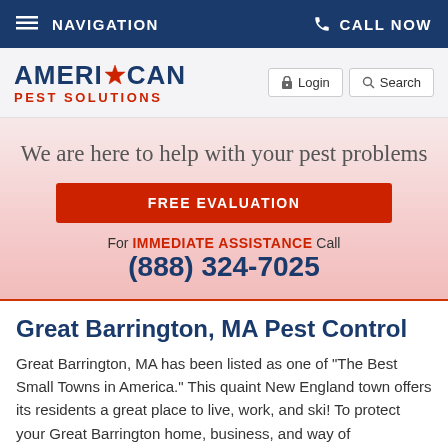NAVIGATION | CALL NOW
[Figure (logo): American Pest Solutions logo with star icon, blue and red text]
We are here to help with your pest problems
FREE EVALUATION
For IMMEDIATE ASSISTANCE Call (888) 324-7025
Great Barrington, MA Pest Control
Great Barrington, MA has been listed as one of "The Best Small Towns in America." This quaint New England town offers its residents a great place to live, work, and ski! To protect your Great Barrington home, business, and way of